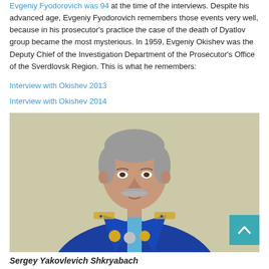Evgeniy Fyodorovich was 94 at the time of the interviews. Despite his advanced age, Evgeniy Fyodorovich remembers those events very well, because in his prosecutor's practice the case of the death of Dyatlov group became the most mysterious. In 1959, Evgeniy Okishev was the Deputy Chief of the Investigation Department of the Prosecutor's Office of the Sverdlovsk Region. This is what he remembers:
Interview with Okishev 2013
Interview with Okishev 2014
[Figure (photo): Portrait photo of a man in a blue military/prosecutor uniform with medals and epaulettes, grey hair and moustache, formal pose against a light background.]
Sergey Yakovlevich Shkryabach